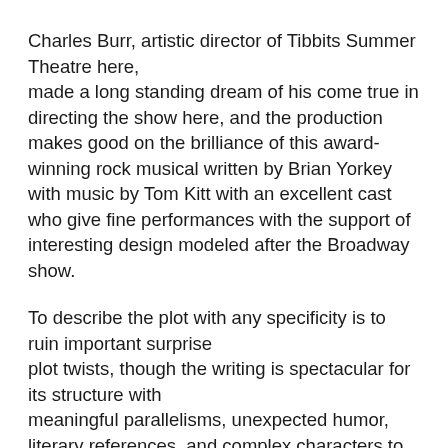Charles Burr, artistic director of Tibbits Summer Theatre here, made a long standing dream of his come true in directing the show here, and the production makes good on the brilliance of this award-winning rock musical written by Brian Yorkey with music by Tom Kitt with an excellent cast who give fine performances with the support of interesting design modeled after the Broadway show.
To describe the plot with any specificity is to ruin important surprise plot twists, though the writing is spectacular for its structure with meaningful parallelisms, unexpected humor, literary references, and complex characters to which practically anyone who has been a parent or been parented can relate.
And to follow Stephanie Burdick's astounding portrayal of